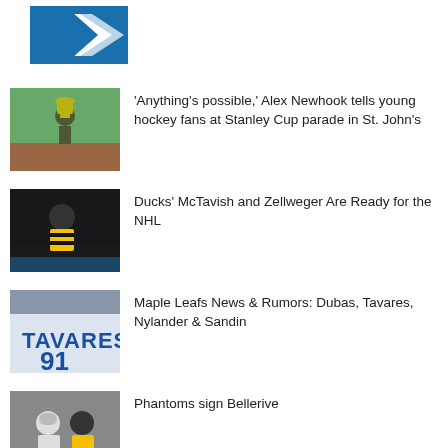[Figure (logo): Blue and white angular arrow/chevron logo]
[Figure (photo): Hockey player holding Stanley Cup at outdoor parade]
'Anything's possible,' Alex Newhook tells young hockey fans at Stanley Cup parade in St. John's
[Figure (photo): Hockey player in black and yellow jersey on ice]
Ducks' McTavish and Zellweger Are Ready for the NHL
[Figure (photo): Tavares jersey number 91 close-up]
Maple Leafs News & Rumors: Dubas, Tavares, Nylander & Sandin
[Figure (photo): Two hockey players in action, one in white and one in black/yellow]
Phantoms sign Bellerive